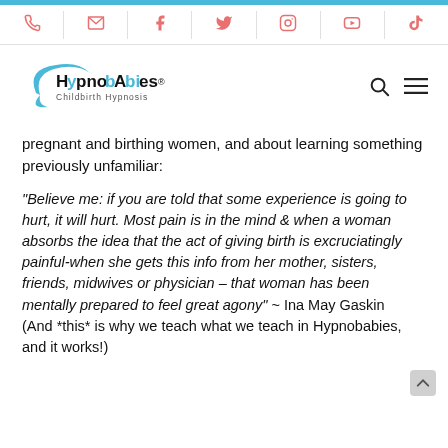Navigation bar with phone, email, facebook, twitter, instagram, youtube, tiktok icons
[Figure (logo): Hypnobabies Childbirth Hypnosis logo with teal swoosh]
pregnant and birthing women, and about learning something previously unfamiliar:
“Believe me: if you are told that some experience is going to hurt, it will hurt. Most pain is in the mind & when a woman absorbs the idea that the act of giving birth is excruciatingly painful-when she gets this info from her mother, sisters, friends, midwives or physician – that woman has been mentally prepared to feel great agony” ~ Ina May Gaskin (And *this* is why we teach what we teach in Hypnobabies, and it works!)